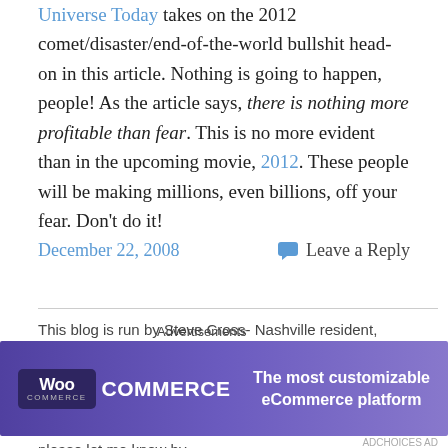Universe Today takes on the 2012 comet/disaster/end-of-the-world bullshit head-on in this article. Nothing is going to happen, people! As the article says, there is nothing more profitable than fear. This is no more evident than in the upcoming movie, 2012. These people will be making millions, even billions, off your fear. Don't do it!
December 22, 2008   Leave a Reply
This blog is run by Steve Cross- Nashville resident, photographer, science & space enthusiast, drummer/guitarist, DJ, and weather nerd. If you are a band or artist, or represent a band or artist and I've posted something of yours that you don't want posted, please let me know by
[Figure (other): WooCommerce advertisement banner: 'The most customizable eCommerce platform']